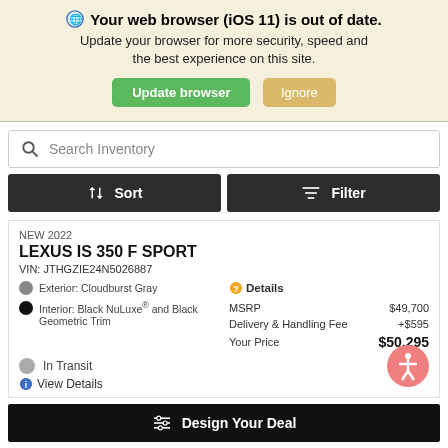🌐 Your web browser (iOS 11) is out of date. Update your browser for more security, speed and the best experience on this site. [Update browser] [Ignore]
Search Inventory
Sort | Filter
NEW 2022
LEXUS IS 350 F SPORT
VIN: JTHGZIE24N5026887
Exterior: Cloudburst Gray
Interior: Black NuLuxe® and Black Geometric Trim
|  |  |
| --- | --- |
| MSRP | $49,700 |
| Delivery & Handling Fee | +$595 |
| Your Price | $50,295 |
In Transit
ℹ View Details
⚙ Design Your Deal